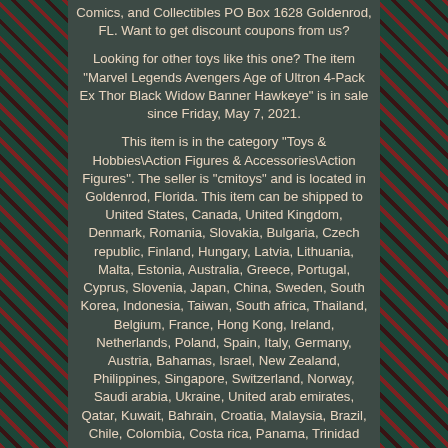Comics, and Collectibles PO Box 1628 Goldenrod, FL. Want to get discount coupons from us?
Looking for other toys like this one? The item "Marvel Legends Avengers Age of Ultron 4-Pack Ex Thor Black Widow Banner Hawkeye" is in sale since Friday, May 7, 2021.
This item is in the category "Toys & Hobbies\Action Figures & Accessories\Action Figures". The seller is "cmitoys" and is located in Goldenrod, Florida. This item can be shipped to United States, Canada, United Kingdom, Denmark, Romania, Slovakia, Bulgaria, Czech republic, Finland, Hungary, Latvia, Lithuania, Malta, Estonia, Australia, Greece, Portugal, Cyprus, Slovenia, Japan, China, Sweden, South Korea, Indonesia, Taiwan, South africa, Thailand, Belgium, France, Hong Kong, Ireland, Netherlands, Poland, Spain, Italy, Germany, Austria, Bahamas, Israel, New Zealand, Philippines, Singapore, Switzerland, Norway, Saudi arabia, Ukraine, United arab emirates, Qatar, Kuwait, Bahrain, Croatia, Malaysia, Brazil, Chile, Colombia, Costa rica, Panama, Trinidad